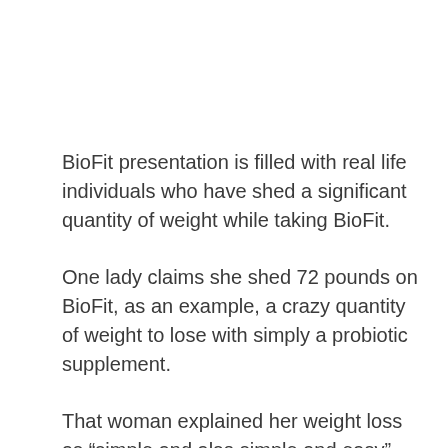BioFit presentation is filled with real life individuals who have shed a significant quantity of weight while taking BioFit.
One lady claims she shed 72 pounds on BioFit, as an example, a crazy quantity of weight to lose with simply a probiotic supplement.
That woman explained her weight loss as “simple and also simple and easy” due to BioFit. She does not declare to have worked out or dieted whatsoever: she simply took